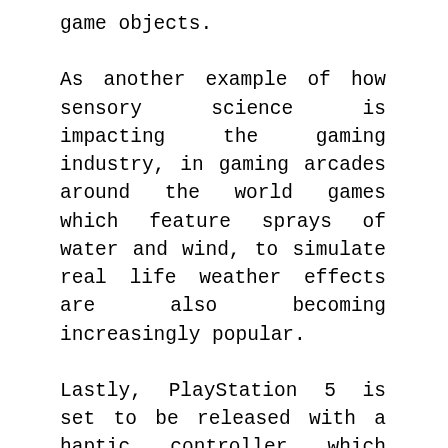game objects.
As another example of how sensory science is impacting the gaming industry, in gaming arcades around the world games which feature sprays of water and wind, to simulate real life weather effects are also becoming increasingly popular.
Lastly, PlayStation 5 is set to be released with a haptic controller which allows gamers to feel a wide variety of sensations such as an earthquake or a sword hitting an opponent's armor.
If you were curious about what sensory science is and how it can serve the world, hopefully you